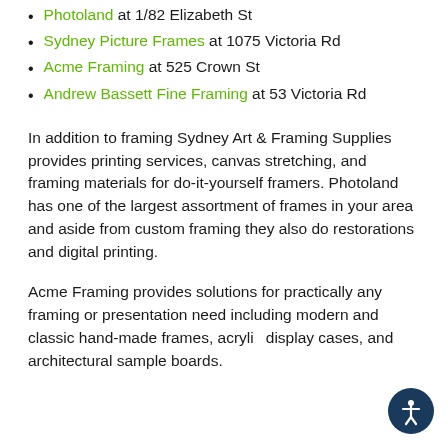Photoland at 1/82 Elizabeth St
Sydney Picture Frames at 1075 Victoria Rd
Acme Framing at 525 Crown St
Andrew Bassett Fine Framing at 53 Victoria Rd
In addition to framing Sydney Art & Framing Supplies provides printing services, canvas stretching, and framing materials for do-it-yourself framers. Photoland has one of the largest assortment of frames in your area and aside from custom framing they also do restorations and digital printing.
Acme Framing provides solutions for practically any framing or presentation need including modern and classic hand-made frames, acrylic display cases, and architectural sample boards.